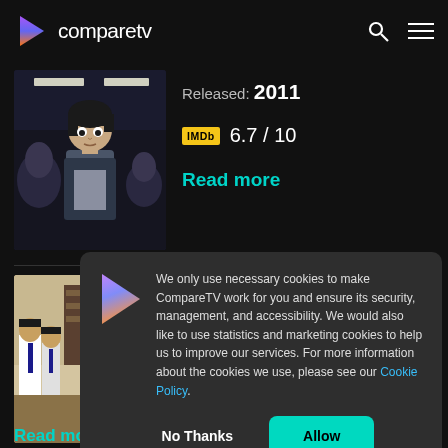compareTV
[Figure (screenshot): Anime character thumbnail from CompareTV listing]
Released: 2011
IMDb 6.7 / 10
Read more
[Figure (screenshot): Second show thumbnail showing school students]
We only use necessary cookies to make CompareTV work for you and ensure its security, management, and accessibility. We would also like to use statistics and marketing cookies to help us to improve our services. For more information about the cookies we use, please see our Cookie Policy.
No Thanks
Allow
Read more